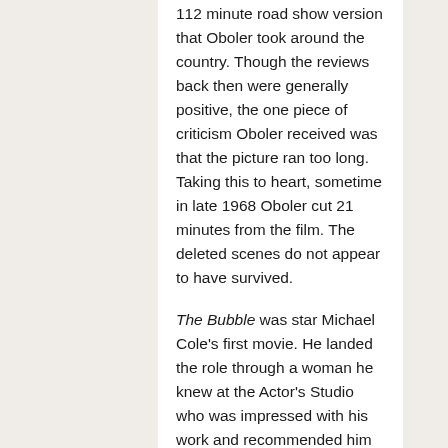112 minute road show version that Oboler took around the country. Though the reviews back then were generally positive, the one piece of criticism Oboler received was that the picture ran too long. Taking this to heart, sometime in late 1968 Oboler cut 21 minutes from the film. The deleted scenes do not appear to have survived.
The Bubble was star Michael Cole's first movie. He landed the role through a woman he knew at the Actor's Studio who was impressed with his work and recommended him to Oboler. Cole had heard that Oboler was a true visionary, and after being around the director for only a few minutes, he could sense that himself. In particular, Cole admired how much Oboler cared about space and what was really out there; Cole recalled that the director even kept a meteor in his pocket! "Anyone who walks around